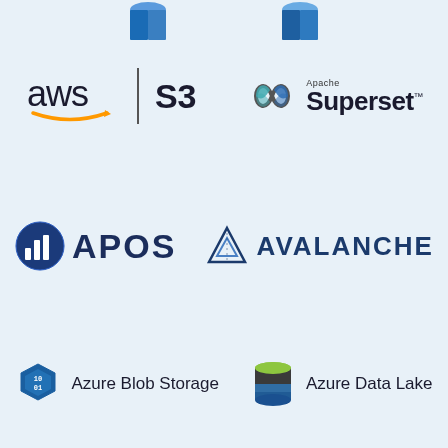[Figure (logo): Partial logos at the top of the page (cropped) — two blue 3D icon shapes partially visible]
[Figure (logo): AWS S3 logo with orange smile arrow and S3 text]
[Figure (logo): Apache Superset logo with infinity symbol icon and 'Apache Superset' text]
[Figure (logo): APOS logo with blue bar chart circle icon and APOS text]
[Figure (logo): Avalanche logo with triangular mountain icon and AVALANCHE text]
[Figure (logo): Azure Blob Storage logo with hexagonal icon and 'Azure Blob Storage' text]
[Figure (logo): Azure Data Lake logo with cylindrical icon and 'Azure Data Lake' text]